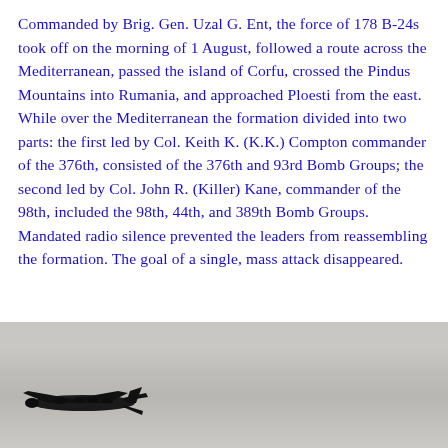Commanded by Brig. Gen. Uzal G. Ent, the force of 178 B-24s took off on the morning of 1 August, followed a route across the Mediterranean, passed the island of Corfu, crossed the Pindus Mountains into Rumania, and approached Ploesti from the east. While over the Mediterranean the formation divided into two parts: the first led by Col. Keith K. (K.K.) Compton commander of the 376th, consisted of the 376th and 93rd Bomb Groups; the second led by Col. John R. (Killer) Kane, commander of the 98th, included the 98th, 44th, and 389th Bomb Groups. Mandated radio silence prevented the leaders from reassembling the formation. The goal of a single, mass attack disappeared.
[Figure (photo): Black and white aerial photograph showing a bomber aircraft silhouette in flight against a hazy sky/landscape background.]